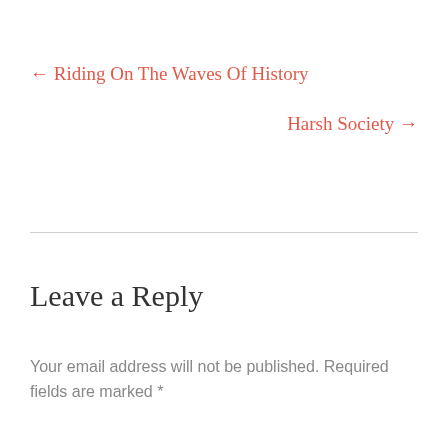← Riding On The Waves Of History
Harsh Society →
Leave a Reply
Your email address will not be published. Required fields are marked *